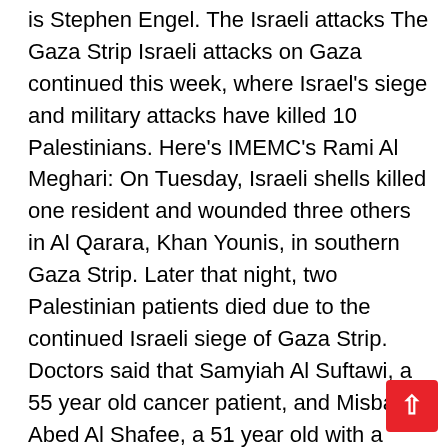is Stephen Engel. The Israeli attacks The Gaza Strip Israeli attacks on Gaza continued this week, where Israel's siege and military attacks have killed 10 Palestinians. Here's IMEMC's Rami Al Meghari: On Tuesday, Israeli shells killed one resident and wounded three others in Al Qarara, Khan Younis, in southern Gaza Strip. Later that night, two Palestinian patients died due to the continued Israeli siege of Gaza Strip. Doctors said that Samyiah Al Suftawi, a 55 year old cancer patient, and Misbah Abed Al Shafee, a 51 year old with a heart condition, died because they were not allowed to leave the coastal region for medical care. Consequently, the number of patients dead—deprived of adequate medical care since the 11 month siege began— now stands at 153. Early